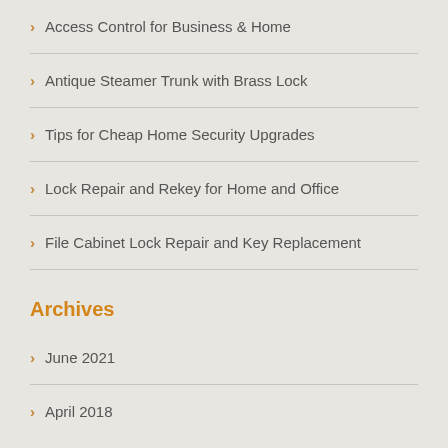Access Control for Business & Home
Antique Steamer Trunk with Brass Lock
Tips for Cheap Home Security Upgrades
Lock Repair and Rekey for Home and Office
File Cabinet Lock Repair and Key Replacement
Archives
June 2021
April 2018